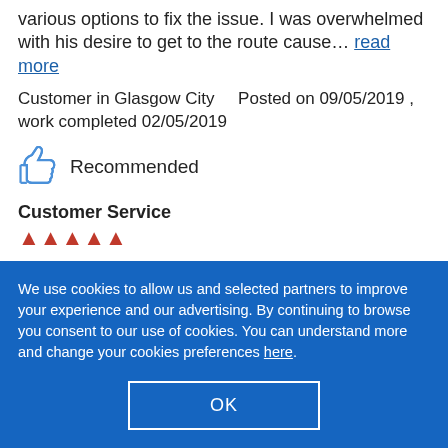various options to fix the issue. I was overwhelmed with his desire to get to the route cause… read more
Customer in Glasgow City    Posted on 09/05/2019 , work completed 02/05/2019
Recommended
Customer Service
[Figure (other): Five red star rating icons]
We use cookies to allow us and selected partners to improve your experience and our advertising. By continuing to browse you consent to our use of cookies. You can understand more and change your cookies preferences here.
OK